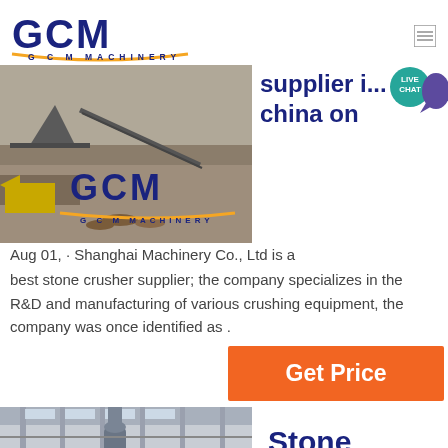[Figure (logo): GCM Machinery logo with stylized GCM text in navy blue and gold underline]
[Figure (photo): Quarry/stone crushing site with GCM Machinery banner overlay]
supplier i... china on
[Figure (other): Live Chat teal badge with speech bubble icon]
Aug 01, · Shanghai Machinery Co., Ltd is a best stone crusher supplier; the company specializes in the R&D and manufacturing of various crushing equipment, the company was once identified as .
[Figure (other): Get Price orange button]
[Figure (photo): Industrial factory interior with large cylindrical machinery]
Stone